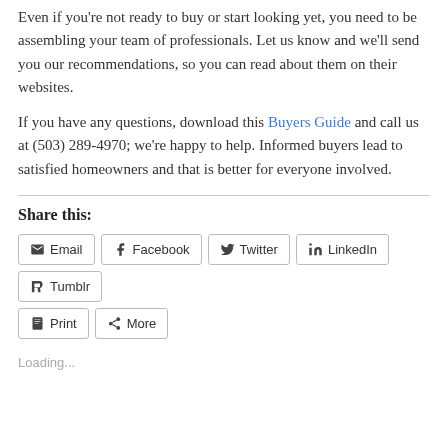Even if you're not ready to buy or start looking yet, you need to be assembling your team of professionals. Let us know and we'll send you our recommendations, so you can read about them on their websites.
If you have any questions, download this Buyers Guide and call us at (503) 289-4970; we're happy to help. Informed buyers lead to satisfied homeowners and that is better for everyone involved.
Share this:
Email | Facebook | Twitter | LinkedIn | Tumblr | Print | More
Loading...